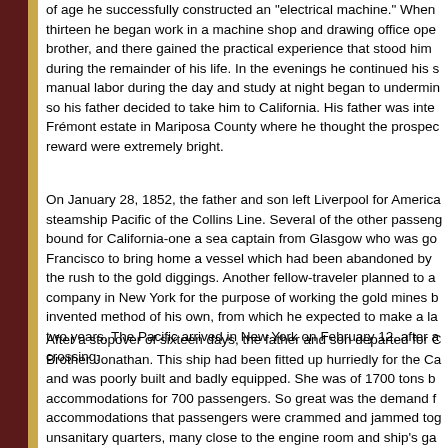of age he successfully constructed an "electrical machine." When thirteen he began work in a machine shop and drawing office ope brother, and there gained the practical experience that stood him during the remainder of his life. In the evenings he continued his s manual labor during the day and study at night began to undermin so his father decided to take him to California. His father was inte Frémont estate in Mariposa County where he thought the prospec reward were extremely bright.
On January 28, 1852, the father and son left Liverpool for America steamship Pacific of the Collins Line. Several of the other passeng bound for California-one a sea captain from Glasgow who was go Francisco to bring home a vessel which had been abandoned by the rush to the gold diggings. Another fellow-traveler planned to a company in New York for the purpose of working the gold mines b invented method of his own, from which he expected to make a la two years. The Pacific arrived in New York on February 12, after a crossing.
After a stopover of sixteen days, the father and son departed for C Brother Jonathan. This ship had been fitted up hurriedly for the Ca and was poorly built and badly equipped. She was of 1700 tons b accommodations for 700 passengers. So great was the demand f accommodations that passengers were crammed and jammed tog unsanitary quarters, many close to the engine room and ship's ga atmosphere was stifling. After crossing the Isthmus the travelers n Panama on March 15. On the 26th they embarked on the ship Bru D. C Mitchell, and landed at Clark's Point in San Francisco fifty- n